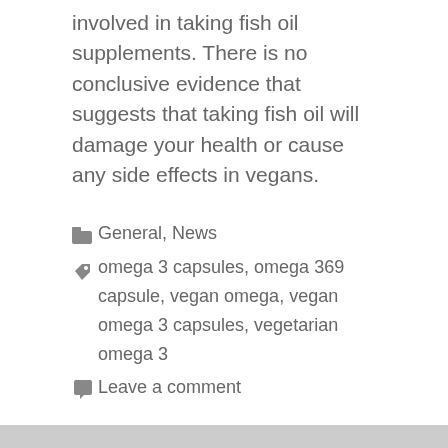involved in taking fish oil supplements. There is no conclusive evidence that suggests that taking fish oil will damage your health or cause any side effects in vegans.
Categories: General, News
Tags: omega 3 capsules, omega 369 capsule, vegan omega, vegan omega 3 capsules, vegetarian omega 3
Leave a comment
What is the Best Time to Take Omega 3 Fish Oil
October 20, 2021 by roncuvitasupplements